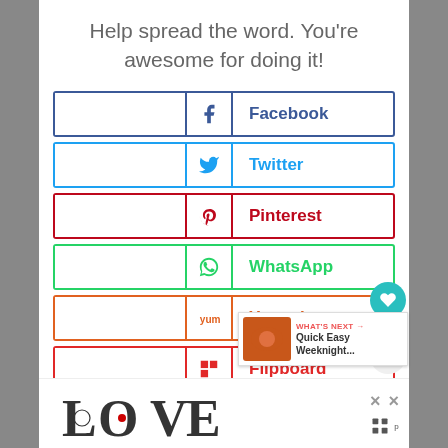Help spread the word. You're awesome for doing it!
Facebook
Twitter
Pinterest
WhatsApp
Yummly
Flipboard
Mix
[Figure (screenshot): LOVE decorative logo at bottom of page]
WHAT'S NEXT → Quick Easy Weeknight...